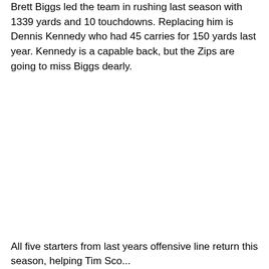Brett Biggs led the team in rushing last season with 1339 yards and 10 touchdowns. Replacing him is Dennis Kennedy who had 45 carries for 150 yards last year. Kennedy is a capable back, but the Zips are going to miss Biggs dearly.
All five starters from last years offensive line return this season, helping Tim...